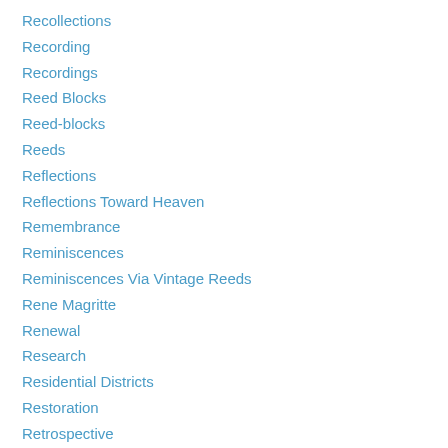Recollections
Recording
Recordings
Reed Blocks
Reed-blocks
Reeds
Reflections
Reflections Toward Heaven
Remembrance
Reminiscences
Reminiscences Via Vintage Reeds
Rene Magritte
Renewal
Research
Residential Districts
Restoration
Retrospective
RFA Bedenham
Rich Use Of Color
Rim Country